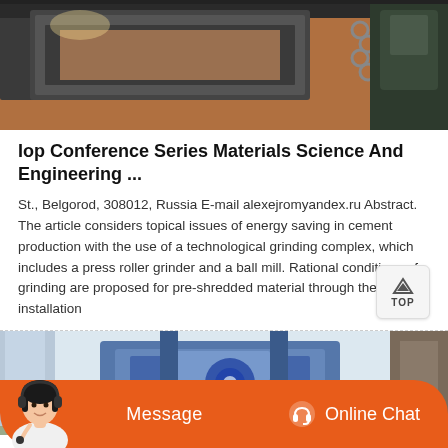[Figure (photo): Industrial machinery photo showing metal molds/forms and chains in a manufacturing facility with sandy/earthy floor]
Iop Conference Series Materials Science And Engineering ...
St., Belgorod, 308012, Russia E-mail alexejromyandex.ru Abstract. The article considers topical issues of energy saving in cement production with the use of a technological grinding complex, which includes a press roller grinder and a ball mill. Rational conditions of grinding are proposed for pre-shredded material through the installation
[Figure (photo): Industrial machinery/equipment photo showing large blue mechanical structures, possibly crushing or grinding equipment]
Message
Online Chat